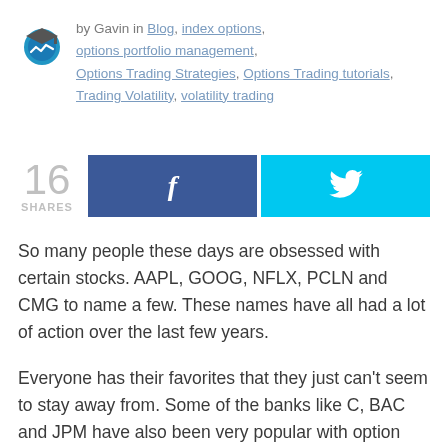by Gavin in Blog, index options, options portfolio management, Options Trading Strategies, Options Trading tutorials, Trading Volatility, volatility trading
[Figure (infographic): Social share widget: 16 SHARES count, Facebook share button (dark blue with f icon), Twitter share button (cyan with bird icon)]
So many people these days are obsessed with certain stocks. AAPL, GOOG, NFLX, PCLN and CMG to name a few. These names have all had a lot of action over the last few years.
Everyone has their favorites that they just can't seem to stay away from. Some of the banks like C, BAC and JPM have also been very popular with option traders.
Everyone wants to get a piece of the next ten